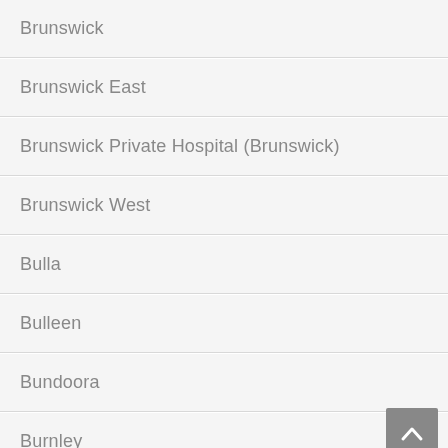Brunswick
Brunswick East
Brunswick Private Hospital (Brunswick)
Brunswick West
Bulla
Bulleen
Bundoora
Burnley